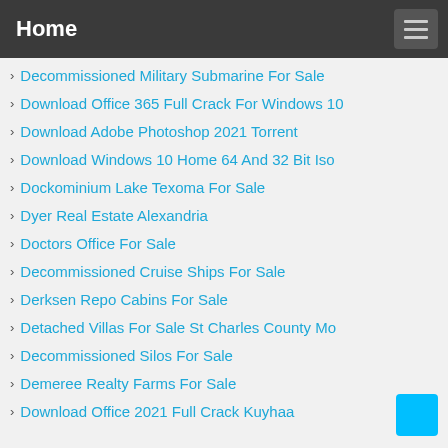Home
Decommissioned Military Submarine For Sale
Download Office 365 Full Crack For Windows 10
Download Adobe Photoshop 2021 Torrent
Download Windows 10 Home 64 And 32 Bit Iso
Dockominium Lake Texoma For Sale
Dyer Real Estate Alexandria
Doctors Office For Sale
Decommissioned Cruise Ships For Sale
Derksen Repo Cabins For Sale
Detached Villas For Sale St Charles County Mo
Decommissioned Silos For Sale
Demeree Realty Farms For Sale
Download Office 2021 Full Crack Kuyhaa